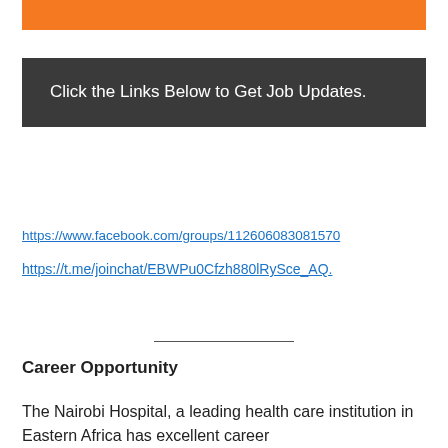[Figure (other): Orange decorative bar at top of page]
Click the Links Below to Get Job Updates.
https://www.facebook.com/groups/112606083081570
https://t.me/joinchat/EBWPu0Cfzh880lRySce_AQ.
Career Opportunity
The Nairobi Hospital, a leading health care institution in Eastern Africa has excellent career